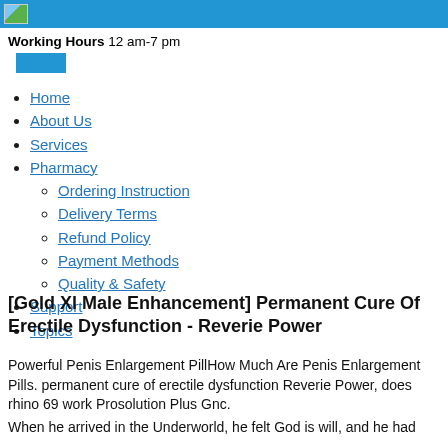Working Hours 12 am-7 pm
Home
About Us
Services
Pharmacy
Ordering Instruction
Delivery Terms
Refund Policy
Payment Methods
Quality & Safety
Support
Topics
[Gold Xl Male Enhancement] Permanent Cure Of Erectile Dysfunction - Reverie Power
Powerful Penis Enlargement PillHow Much Are Penis Enlargement Pills. permanent cure of erectile dysfunction Reverie Power, does rhino 69 work Prosolution Plus Gnc.
When he arrived in the Underworld, he felt God is will, and he had